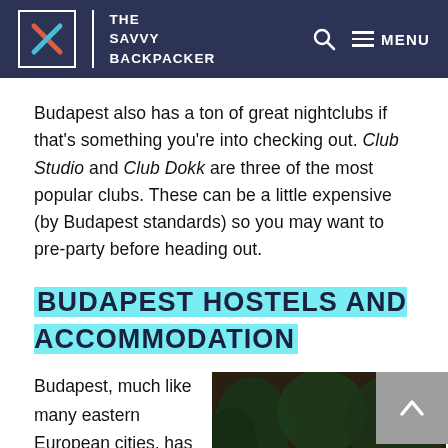THE SAVVY BACKPACKER
Budapest also has a ton of great nightclubs if that's something you're into checking out. Club Studio and Club Dokk are three of the most popular clubs. These can be a little expensive (by Budapest standards) so you may want to pre-party before heading out.
BUDAPEST HOSTELS AND ACCOMMODATION
Budapest, much like many eastern European cities, has a lot of great (and cheap) hostels.
[Figure (photo): Aerial/overhead view of an outdoor hostel or bar courtyard at night with people sitting at tables, trees, and warm lighting.]